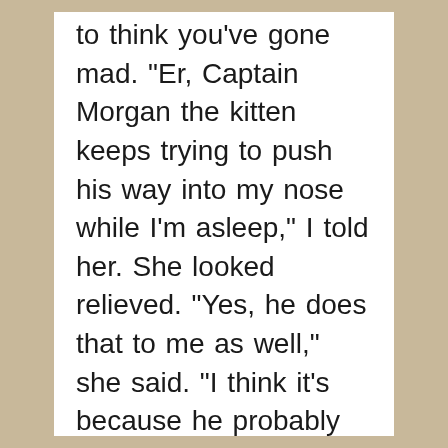to think you've gone mad. "Er, Captain Morgan the kitten keeps trying to push his way into my nose while I'm asleep," I told her. She looked relieved. "Yes, he does that to me as well," she said. "I think it's because he probably wasn't weaned properly."